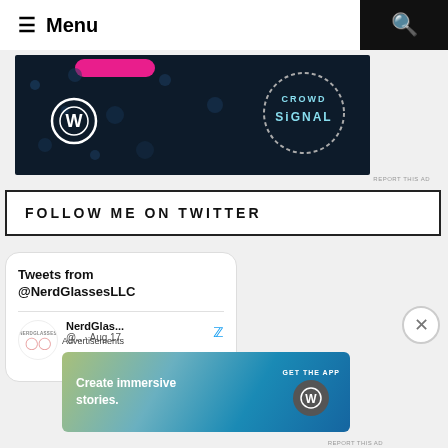☰ Menu
[Figure (screenshot): WordPress and Crowdsignal advertisement banner on dark navy background]
REPORT THIS AD
FOLLOW ME ON TWITTER
[Figure (screenshot): Twitter widget showing Tweets from @NerdGlassesLLC with a tweet from NerdGlas... @.. · Aug 17]
[Figure (screenshot): Bottom advertisement: Create immersive stories. GET THE APP with WordPress logo]
Advertisements
REPORT THIS AD